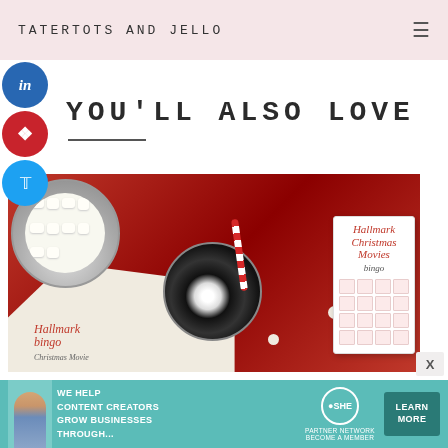TATERTOTS AND JELLO
YOU'LL ALSO LOVE
[Figure (photo): Top-down view of a red blanket with pom pom fringe, a bowl of mini marshmallows, a hot chocolate mug with whipped cream and a red/white striped straw, and two Hallmark Christmas Bingo game cards]
[Figure (screenshot): Advertisement banner for SHE Media Partner Network: We help content creators grow businesses through... with a Learn More button]